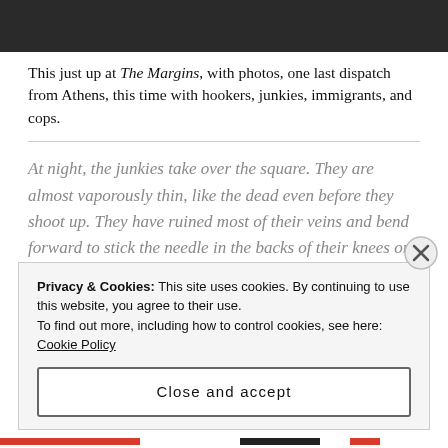[Figure (photo): Black and white photo strip at top of page showing people in a crowd or street scene]
This just up at The Margins, with photos, one last dispatch from Athens, this time with hookers, junkies, immigrants, and cops.
At night, the junkies take over the square. They are almost vaporously thin, like the dead even before they shoot up. They have ruined most of their veins and bend forward to stick the needle in the backs of their knees or other parts of their legs. The happy ones are curled up fetally, oblivious to everything. A tall South Asian man
Privacy & Cookies: This site uses cookies. By continuing to use this website, you agree to their use.
To find out more, including how to control cookies, see here: Cookie Policy
Close and accept